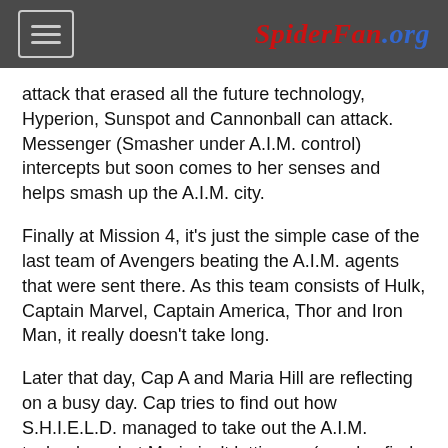SpiderFan.org
attack that erased all the future technology, Hyperion, Sunspot and Cannonball can attack. Messenger (Smasher under A.I.M. control) intercepts but soon comes to her senses and helps smash up the A.I.M. city.
Finally at Mission 4, it's just the simple case of the last team of Avengers beating the A.I.M. agents that were sent there. As this team consists of Hulk, Captain Marvel, Captain America, Thor and Iron Man, it really doesn't take long.
Later that day, Cap A and Maria Hill are reflecting on a busy day. Cap tries to find out how S.H.I.E.L.D. managed to take out the A.I.M. technology, but Maria isn't letting on (we also find out here that the Next Avengers are staying in present time instead of returning back to the future). All in all Steve Rogers is happy: the Avengers put out a call